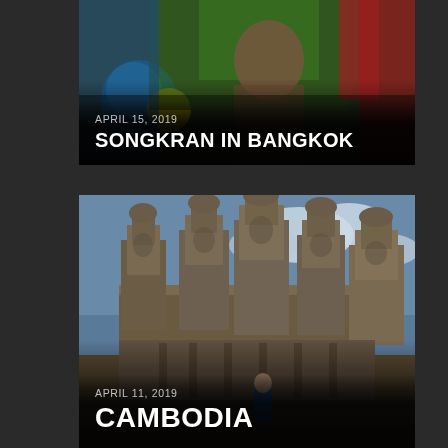[Figure (photo): Photo card showing colorful Songkran festival scene in Bangkok with people, balloons in blue, yellow, and other colors]
APRIL 15, 2019
SONGKRAN IN BANGKOK
[Figure (photo): Photo card showing the Bayon temple at Angkor Thom, Cambodia, with large stone face towers against a blue sky, and a person in a blue shirt standing in front]
APRIL 11, 2019
CAMBODIA